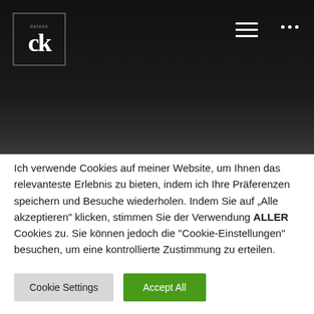[Figure (logo): Dark header background with dk logo in a square border on the top left, hamburger menu icon and three dots on the top right]
Ich verwende Cookies auf meiner Website, um Ihnen das relevanteste Erlebnis zu bieten, indem ich Ihre Präferenzen speichern und Besuche wiederholen. Indem Sie auf „Alle akzeptieren" klicken, stimmen Sie der Verwendung ALLER Cookies zu. Sie können jedoch die "Cookie-Einstellungen" besuchen, um eine kontrollierte Zustimmung zu erteilen.
Cookie Settings
Accept All